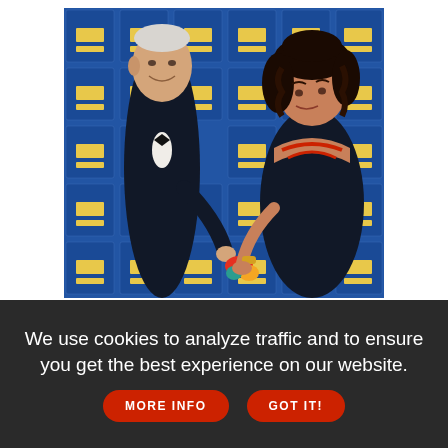[Figure (photo): Photo of President-elect Joe Biden in a tuxedo with bow tie, smiling and talking with a woman with curly dark hair wearing a black dress with red necklace, in front of a blue Human Rights Campaign (HRC) logo backdrop. They appear to be exchanging or holding a colorful item.]
President-elect Joe Biden is a longtime politician whose once-prickly stances on queer issues have taken time to evolve. Though an early
We use cookies to analyze traffic and to ensure you get the best experience on our website. MORE INFO GOT IT!